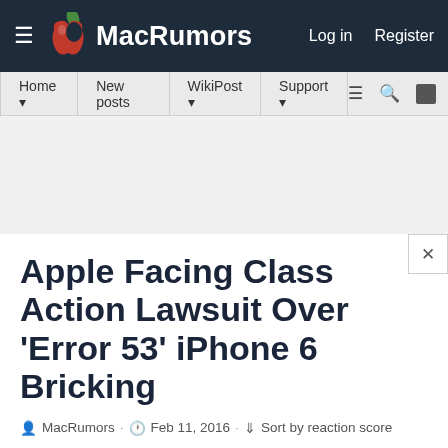MacRumors — Log in  Register
Home  New posts  WikiPost  Support
Apple Facing Class Action Lawsuit Over 'Error 53' iPhone 6 Bricking
MacRumors · Feb 11, 2016 · Sort by reaction score
MacRumors.com News Discussion